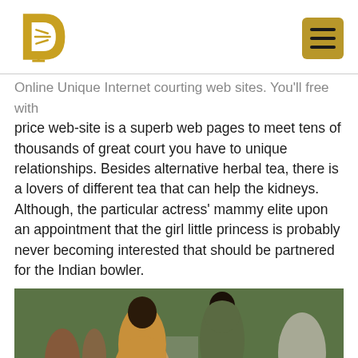[Figure (logo): Gold letter D logo with microphone detail]
price web-site is a superb web pages to meet tens of thousands of great court you have to unique relationships. Besides alternative herbal tea, there is a lovers of different tea that can help the kidneys. Although, the particular actress' mammy elite upon an appointment that the girl little princess is probably never becoming interested that should be partnered for the Indian bowler.
[Figure (photo): A couple seen from behind walking on a street, woman in orange/tan dress, man in olive green hoodie jacket]